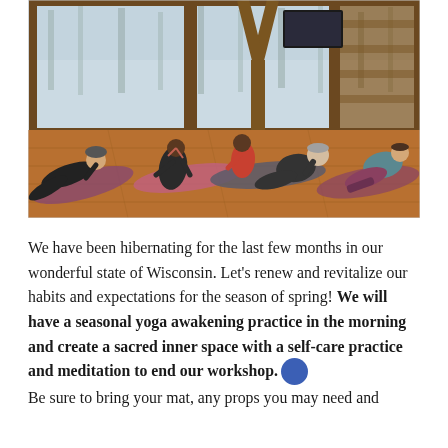[Figure (photo): Group of people doing yoga poses on mats in a log cabin studio with large windows overlooking a snowy winter forest. Participants are in cobra/sphinx poses on colorful mats on a warm wood floor.]
We have been hibernating for the last few months in our wonderful state of Wisconsin. Let's renew and revitalize our habits and expectations for the season of spring! We will have a seasonal yoga awakening practice in the morning and create a sacred inner space with a self-care practice and meditation to end our workshop. Be sure to bring your mat, any props you may need and